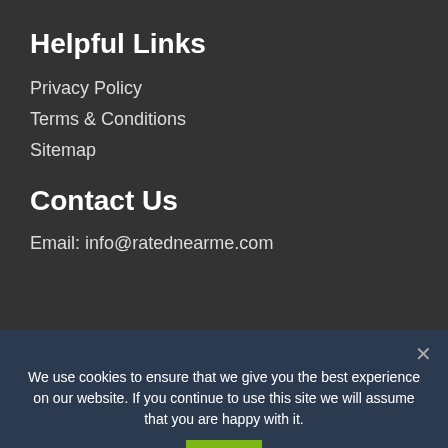Helpful Links
Privacy Policy
Terms & Conditions
Sitemap
Contact Us
Email: info@ratednearme.com
Verified Directory & Comparison Website
We use cookies to ensure that we give you the best experience on our website. If you continue to use this site we will assume that you are happy with it.